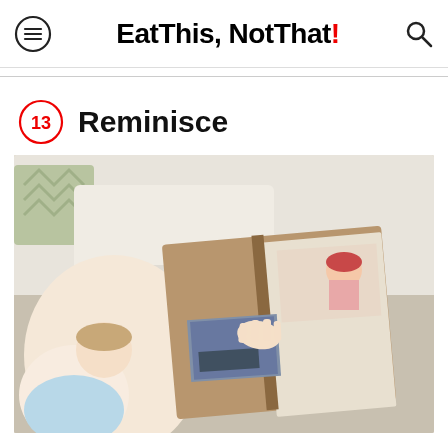Eat This, Not That!
13 Reminisce
[Figure (photo): A woman and a small child sitting together looking at a photo album open to pages showing photographs including one of a smiling child.]